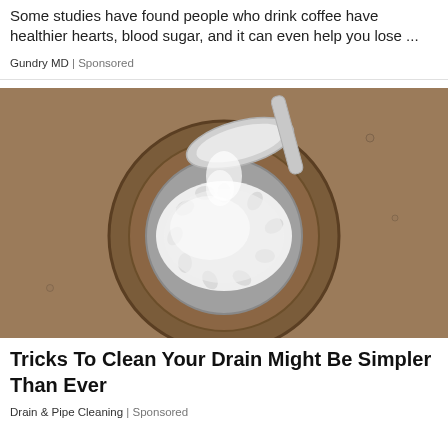Some studies have found people who drink coffee have healthier hearts, blood sugar, and it can even help you lose ...
Gundry MD | Sponsored
[Figure (photo): A spoon pouring white powder (baking soda) into a metal sink drain strainer, shown from above on a brownish wet sink surface.]
Tricks To Clean Your Drain Might Be Simpler Than Ever
Drain & Pipe Cleaning | Sponsored